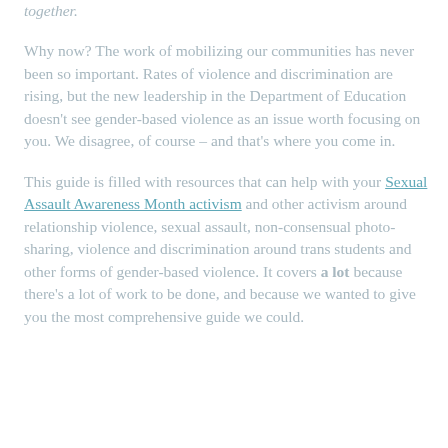together.
Why now?  The work of mobilizing our communities has never been so important. Rates of violence and discrimination are rising, but the new leadership in the Department of Education doesn't see gender-based violence as an issue worth focusing on you. We disagree, of course – and that's where you come in.
This guide is filled with resources that can help with your Sexual Assault Awareness Month activism and other activism around relationship violence, sexual assault, non-consensual photo-sharing, violence and discrimination around trans students and other forms of gender-based violence. It covers a lot because there's a lot of work to be done, and because we wanted to give you the most comprehensive guide we could.